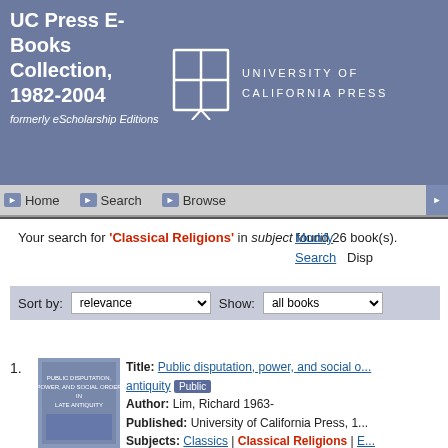UC Press E-Books Collection, 1982-2004 formerly eScholarship Editions | UNIVERSITY OF CALIFORNIA PRESS
Home | Search | Browse
Your search for 'Classical Religions' in subject found 26 book(s).
Modify Search  Disp...
Sort by: relevance  Show: all books
1. Title: Public disputation, power, and social order in late antiquity [Public] Author: Lim, Richard 1963- Published: University of California Press, 1... Subjects: Classics | Classical Religions | E... Christianity...